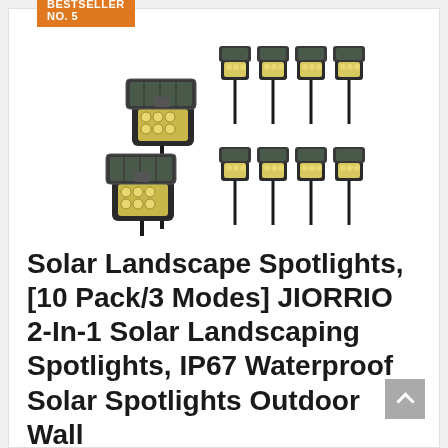BESTSELLER NO. 5
[Figure (photo): Product photo showing 10 black solar landscape spotlights with ground stakes arranged in a group against a white background.]
Solar Landscape Spotlights, [10 Pack/3 Modes] JIORRIO 2-In-1 Solar Landscaping Spotlights, IP67 Waterproof Solar Spotlights Outdoor Wall